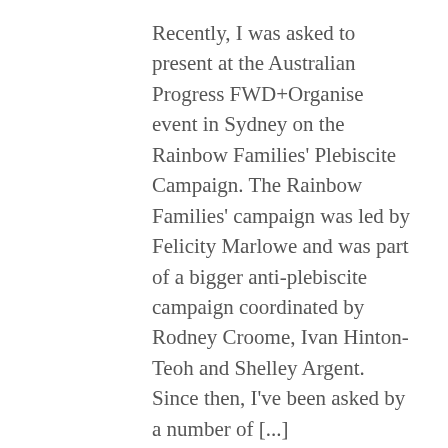Recently, I was asked to present at the Australian Progress FWD+Organise event in Sydney on the Rainbow Families' Plebiscite Campaign. The Rainbow Families' campaign was led by Felicity Marlowe and was part of a bigger anti-plebiscite campaign coordinated by Rodney Croome, Ivan Hinton-Teoh and Shelley Argent. Since then, I've been asked by a number of [...]
FILED UNDER: KIDS AND PARENTING, MARRIAGE EQUALITY, RAINBOW FAMILIES TAGGED WITH: AUSTRALIAN MARRIAGE EQUALITY, AUSTRALIAN PROGRESS, RAINBOW FAMILIES COUNCIL, RAINBOW